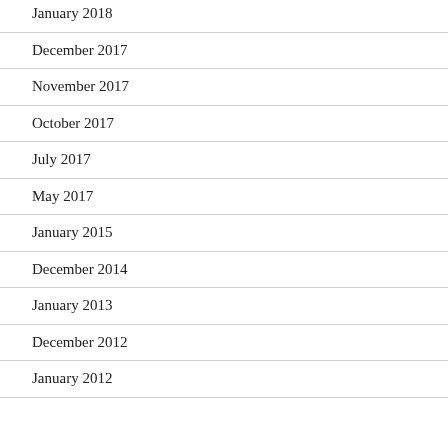January 2018
December 2017
November 2017
October 2017
July 2017
May 2017
January 2015
December 2014
January 2013
December 2012
January 2012